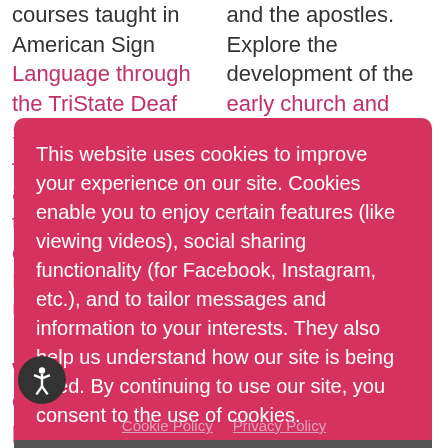courses taught in American Sign Language through the TriState Deaf School of Theology—all while earning affordable and transferable college credit at North Greenville University.
and the apostles. Explore the development of the early church and understand your understanding of biblical values and ministry. The expand your impact and continue your education and development in Spring 2022.
This website uses cookies to improve your experience on our site. Cookies enable you to enjoy certain features (like viewing videos), social sharing functionality (for Facebook, Instagram, etc.), and to tailor messages and information to your interests. They also help us understand how our site is being used. By continuing to use our site, you consent to the use of cookies.
Whether you currently serve, or plan to serve, in Christian ministry among the Deaf,
Future courses in the bridge program may
Accept
Cookie Policy   Privacy Policy